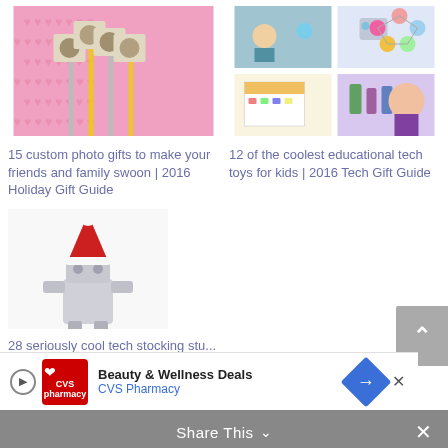[Figure (photo): Custom photo gifts on sticks against pink heart background]
15 custom photo gifts to make your friends and family swoon | 2016 Holiday Gift Guide
[Figure (photo): Collage of educational tech toys for kids including robots and gadgets]
12 of the coolest educational tech toys for kids | 2016 Tech Gift Guide
[Figure (photo): Small robot figurine wearing a Santa hat]
28 seriously cool tech stocking stu... on... Tech Guide 2016
[Figure (other): CVS Pharmacy advertisement banner - Beauty & Wellness Deals]
Share This ∨  ✕